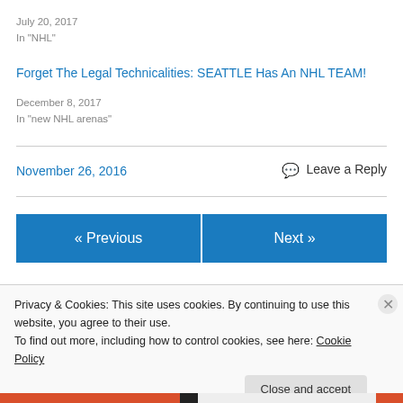July 20, 2017
In "NHL"
Forget The Legal Technicalities: SEATTLE Has An NHL TEAM!
December 8, 2017
In "new NHL arenas"
November 26, 2016   Leave a Reply
« Previous
Next »
Privacy & Cookies: This site uses cookies. By continuing to use this website, you agree to their use. To find out more, including how to control cookies, see here: Cookie Policy
Close and accept